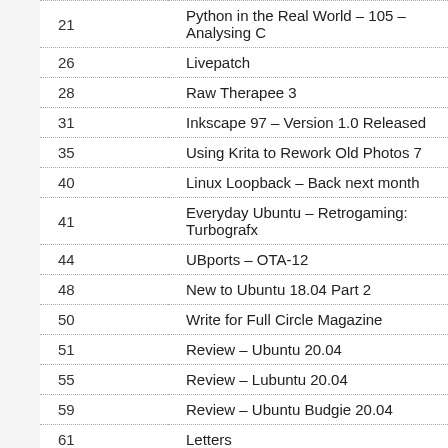| Page | Title |
| --- | --- |
| 21 | Python in the Real World – 105 – Analysing C… |
| 26 | Livepatch |
| 28 | Raw Therapee 3 |
| 31 | Inkscape 97 – Version 1.0 Released |
| 35 | Using Krita to Rework Old Photos 7 |
| 40 | Linux Loopback – Back next month |
| 41 | Everyday Ubuntu – Retrogaming: Turbografx… |
| 44 | UBports – OTA-12 |
| 48 | New to Ubuntu 18.04 Part 2 |
| 50 | Write for Full Circle Magazine |
| 51 | Review – Ubuntu 20.04 |
| 55 | Review – Lubuntu 20.04 |
| 59 | Review – Ubuntu Budgie 20.04 |
| 61 | Letters |
| 62 | Q & A |
| 66 | Eagle Island |
| 68 | Patrons |
| 69 | How to Contribute |